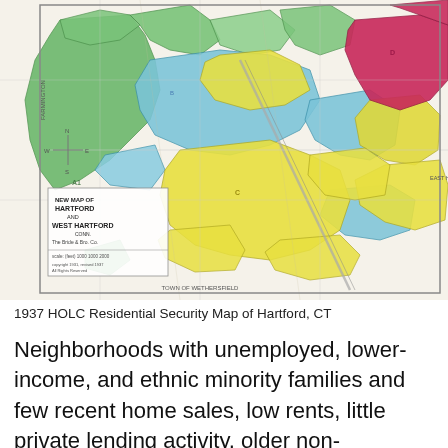[Figure (map): 1937 HOLC Residential Security Map of Hartford, CT. A color-coded map showing neighborhoods in Hartford and West Hartford, Connecticut. Areas are shaded in green (best/A), blue (still desirable/B), yellow (definitely declining/C), and red/magenta (hazardous/D) according to the Home Owners' Loan Corporation residential security grading system. The map includes street networks, neighborhood boundaries, and a legend in the lower left corner reading 'New Map of Hartford and West Hartford Conn. The Bride & Bro. Co.']
1937 HOLC Residential Security Map of Hartford, CT
Neighborhoods with unemployed, lower-income, and ethnic minority families and few recent home sales, low rents, little private lending activity, older non-compliant housing stock in poor